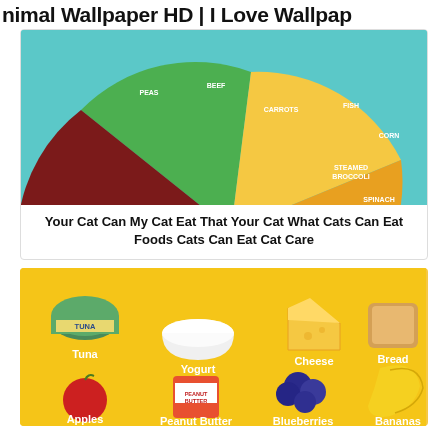Animal Wallpaper HD | I Love Wallpap…
[Figure (pie-chart): Pie chart showing foods that cats cannot eat, divided into colored segments: green (Peas, Beef, Carrots), yellow (Fish, Corn, Steamed Broccoli, Spinach, Melon), orange-yellow (Cheese, Avocado), orange (Chocolate), dark brown/red (Salt, Onions/Garlic, Animal Fat, Caffeine, Cow Milk, Alcohol)]
Your Cat Can My Cat Eat That Your Cat What Cats Can Eat Foods Cats Can Eat Cat Care
[Figure (infographic): Infographic on golden/yellow background showing foods cats can eat: Tuna (can), Yogurt (bowl), Cheese (wedge), Bread (slice), Apples (red apple), Peanut Butter (jar), Blueberries (cluster), Bananas (bunch)]